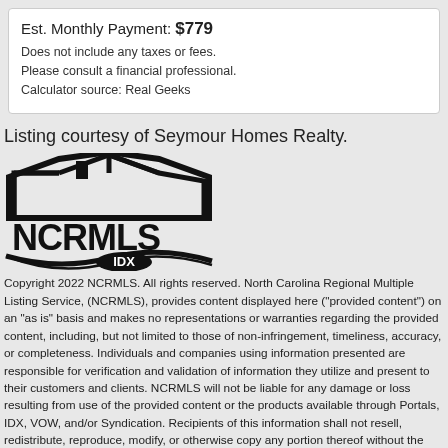Est. Monthly Payment: $779
Does not include any taxes or fees.
Please consult a financial professional.
Calculator source: Real Geeks
Listing courtesy of Seymour Homes Realty.
[Figure (logo): NCRMLS IDX logo — house outline with NCRMLS text and IDX beneath, black on white]
Copyright 2022 NCRMLS. All rights reserved. North Carolina Regional Multiple Listing Service, (NCRMLS), provides content displayed here ("provided content") on an "as is" basis and makes no representations or warranties regarding the provided content, including, but not limited to those of non-infringement, timeliness, accuracy, or completeness. Individuals and companies using information presented are responsible for verification and validation of information they utilize and present to their customers and clients. NCRMLS will not be liable for any damage or loss resulting from use of the provided content or the products available through Portals, IDX, VOW, and/or Syndication. Recipients of this information shall not resell, redistribute, reproduce, modify, or otherwise copy any portion thereof without the expressed written consent of NCRMLS.
Additional Navigation